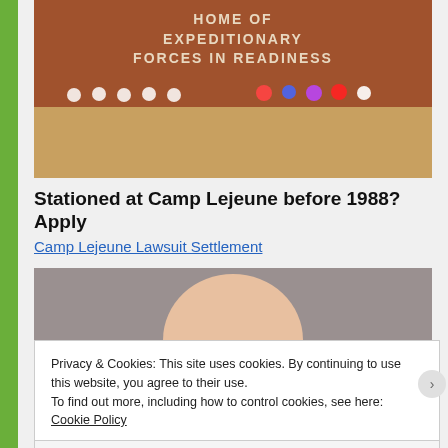[Figure (photo): Camp Lejeune entrance brick wall sign reading 'HOME OF EXPEDITIONARY FORCES IN READINESS' with flowers and small white figurines placed in front of the wall]
Stationed at Camp Lejeune before 1988? Apply
Camp Lejeune Lawsuit Settlement
[Figure (photo): Close-up photo of a bald or shaved head person, blurred background]
Privacy & Cookies: This site uses cookies. By continuing to use this website, you agree to their use.
To find out more, including how to control cookies, see here: Cookie Policy
Close and accept